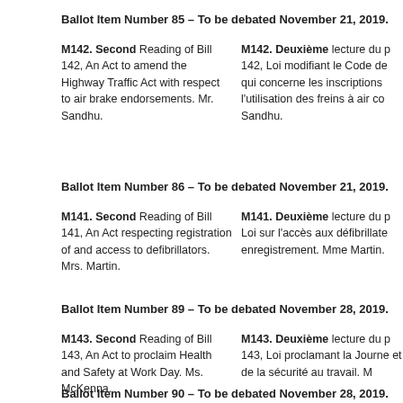Ballot Item Number 85 – To be debated November 21, 2019.
M142. Second Reading of Bill 142, An Act to amend the Highway Traffic Act with respect to air brake endorsements. Mr. Sandhu.
M142. Deuxième lecture du projet de loi 142, Loi modifiant le Code de la route en ce qui concerne les inscriptions relatives à l'utilisation des freins à air comprimé. M. Sandhu.
Ballot Item Number 86 – To be debated November 21, 2019.
M141. Second Reading of Bill 141, An Act respecting registration of and access to defibrillators. Mrs. Martin.
M141. Deuxième lecture du projet de loi Loi sur l'accès aux défibrillateurs et leur enregistrement. Mme Martin.
Ballot Item Number 89 – To be debated November 28, 2019.
M143. Second Reading of Bill 143, An Act to proclaim Health and Safety at Work Day. Ms. McKenna.
M143. Deuxième lecture du projet de loi 143, Loi proclamant la Journée de la santé et de la sécurité au travail. M...
Ballot Item Number 90 – To be debated November 28, 2019.